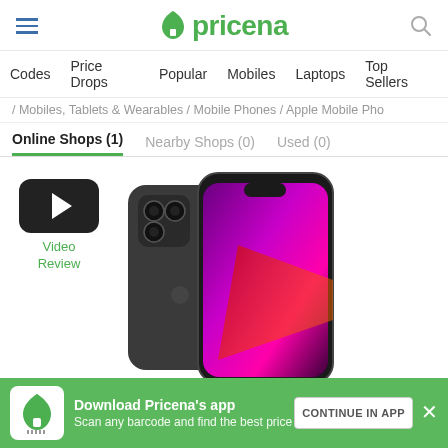pricena
Codes  Price Drops  Popular  Mobiles  Laptops  Top Sellers
/ Mobiles, Tablets & Wearables / Mobile Phones / Apple Mobile Pho
Online Shops (1)  Nearby Shops (0)  Used (0)
[Figure (screenshot): iPhone 13 Pro product image showing the phone from front and back, with graphite/dark color back and purple/magenta abstract wallpaper on screen]
Video Review
Download Pricena's app
Scan any barcode and find the best price
CONTINUE IN APP